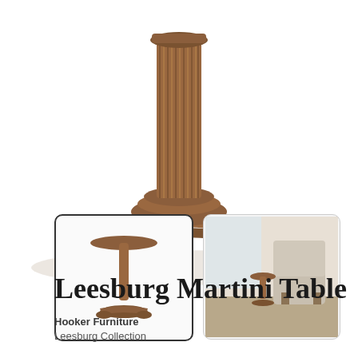[Figure (photo): Close-up bottom view of a Leesburg Martini Table showing the ornate carved pedestal base with fluted column and tri-footed scroll legs in warm brown wood finish]
[Figure (photo): Thumbnail of full Leesburg Martini Table showing complete pedestal side table with round top]
[Figure (photo): Thumbnail of Leesburg Martini Table in room setting beside an upholstered chair]
Leesburg Martini Table
Hooker Furniture
Leesburg Collection